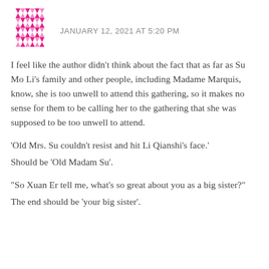[Figure (illustration): Pink diamond/geometric pattern avatar icon]
JANUARY 12, 2021 AT 5:20 PM
I feel like the author didn't think about the fact that as far as Su Mo Li's family and other people, including Madame Marquis, know, she is too unwell to attend this gathering, so it makes no sense for them to be calling her to the gathering that she was supposed to be too unwell to attend.
'Old Mrs. Su couldn't resist and hit Li Qianshi's face.'
Should be 'Old Madam Su'.
“So Xuan Er tell me, what’s so great about you as a big sister?"
The end should be ‘your big sister’.